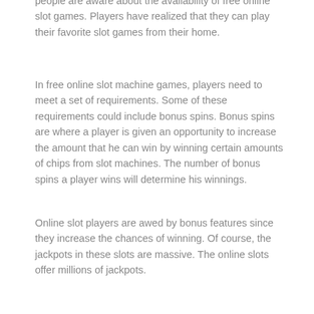people are aware about the availability of free online slot games. Players have realized that they can play their favorite slot games from their home.
In free online slot machine games, players need to meet a set of requirements. Some of these requirements could include bonus spins. Bonus spins are where a player is given an opportunity to increase the amount that he can win by winning certain amounts of chips from slot machines. The number of bonus spins a player wins will determine his winnings.
Online slot players are awed by bonus features since they increase the chances of winning. Of course, the jackpots in these slots are massive. The online slots offer millions of jackpots.